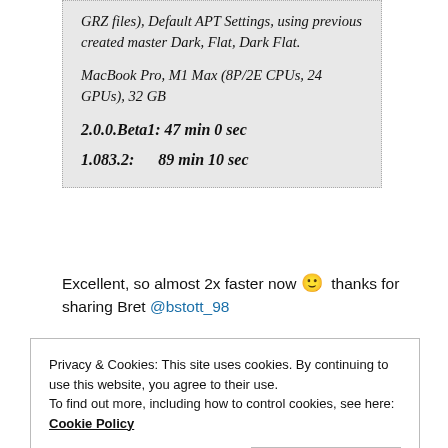GRZ files), Default APT Settings, using previous created master Dark, Flat, Dark Flat.
MacBook Pro, M1 Max (8P/2E CPUs, 24 GPUs), 32 GB
2.0.0.Beta1: 47 min 0 sec
1.083.2:      89 min 10 sec
Excellent, so almost 2x faster now 🙂 thanks for sharing Bret @bstott_98
Privacy & Cookies: This site uses cookies. By continuing to use this website, you agree to their use. To find out more, including how to control cookies, see here: Cookie Policy
Close and accept